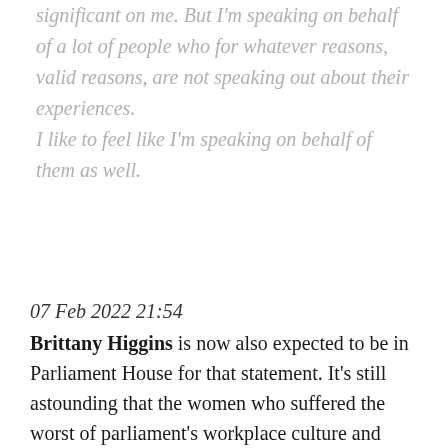significant on me. But I'm speaking on behalf of a lot of people who for whatever reasons, valid reasons, are not speaking out about their experiences. I like to feel like I'm speaking on behalf of them as well.
07 Feb 2022 21:54
Brittany Higgins is now also expected to be in Parliament House for that statement. It's still astounding that the women who suffered the worst of parliament's workplace culture and spoke out about it weren't invited all along